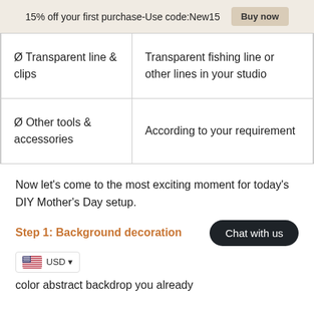15% off your first purchase-Use code:New15  Buy now
| Ø Transparent line & clips | Transparent fishing line or other lines in your studio |
| Ø Other tools & accessories | According to your requirement |
Now let's come to the most exciting moment for today's DIY Mother's Day setup.
Step 1: Background decoration
color abstract backdrop you already